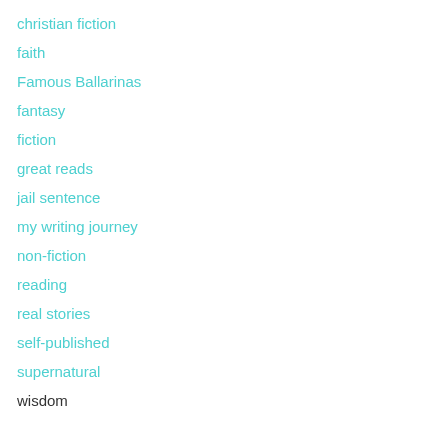christian fiction
faith
Famous Ballarinas
fantasy
fiction
great reads
jail sentence
my writing journey
non-fiction
reading
real stories
self-published
supernatural
wisdom